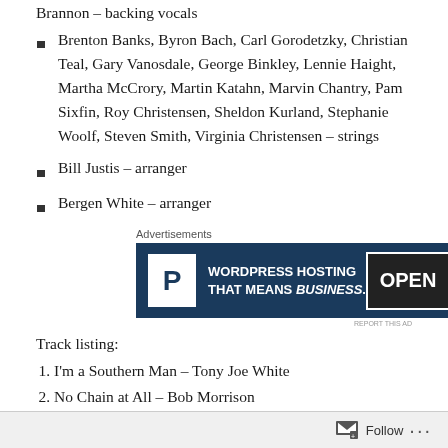Brannon – backing vocals
Brenton Banks, Byron Bach, Carl Gorodetzky, Christian Teal, Gary Vanosdale, George Binkley, Lennie Haight, Martha McCrory, Martin Katahn, Marvin Chantry, Pam Sixfin, Roy Christensen, Sheldon Kurland, Stephanie Woolf, Steven Smith, Virginia Christensen – strings
Bill Justis – arranger
Bergen White – arranger
[Figure (infographic): Advertisement for WordPress Hosting with a P logo, text 'WORDPRESS HOSTING THAT MEANS BUSINESS.' and an OPEN sign image]
Track listing:
I'm a Southern Man – Tony Joe White
No Chain at All – Bob Morrison
Follow ...